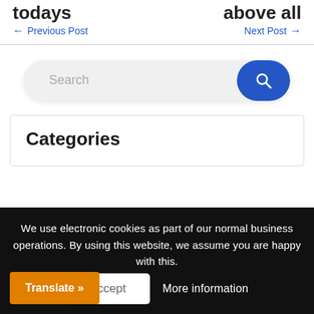todays
← Previous Post
above all
Next Post →
[Figure (screenshot): Search bar with text input placeholder 'Search' and blue rounded search button with magnifying glass icon]
Categories
We use electronic cookies as part of our normal business operations. By using this website, we assume you are happy with this.
Accept
More information
Translate »